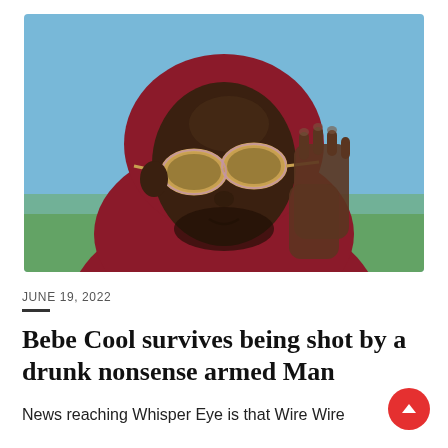[Figure (photo): A Black man wearing a dark red/maroon hoodie and gold-tinted oversized sunglasses with pink frames, holding his hands together in a prayer-like pose near his face. The background is a light blue sky with some greenery.]
JUNE 19, 2022
Bebe Cool survives being shot by a drunk nonsense armed Man
News reaching Whisper Eye is that Wire Wire